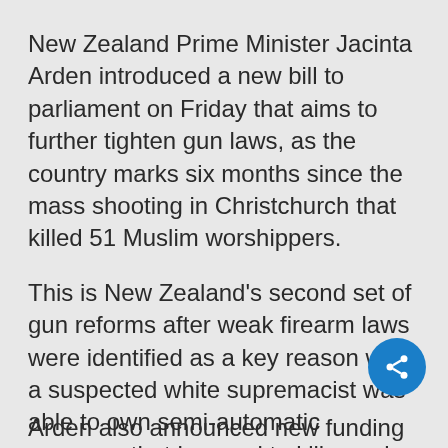New Zealand Prime Minister Jacinta Arden introduced a new bill to parliament on Friday that aims to further tighten gun laws, as the country marks six months since the mass shooting in Christchurch that killed 51 Muslim worshippers.
This is New Zealand's second set of gun reforms after weak firearm laws were identified as a key reason why a suspected white supremacist was able to own semi-automatic weapons that he used to kill people gathered at two mosques for Friday prayers on March 15. A mandatory nationwide gun buy-back program was part of the reforms.
Arden also announced new funding for mental